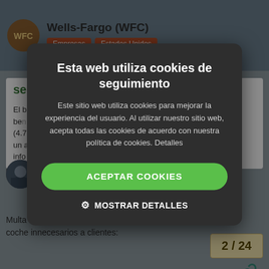Wells-Fargo (WFC) | Empresas | Estados Unidos
segundo trimestre
El b... bene... ires (4.7... un a... info...
[Figure (screenshot): Cookie consent modal overlay on a financial forum page about Wells-Fargo. Modal has dark background with title 'Esta web utiliza cookies de seguimiento', body text explaining cookie usage, an 'ACEPTAR COOKIES' green button, and a 'MOSTRAR DETALLES' link with gear icon.]
9 MON...
cuke
Apr '18
Multa de 1000 millones de dólares por v coche innecesarios a clientes:
2 / 24